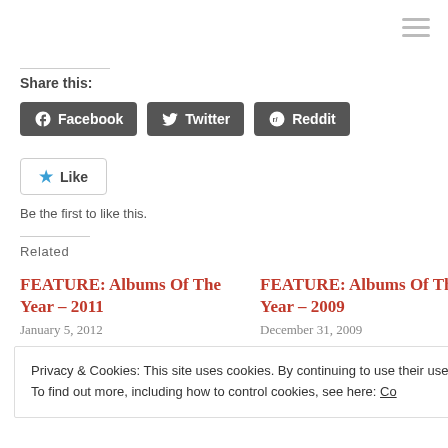Share this:
Facebook
Twitter
Reddit
Like — Be the first to like this.
Related
FEATURE: Albums Of The Year – 2011
January 5, 2012
FEATURE: Albums Of The Year – 2009
December 31, 2009
Privacy & Cookies: This site uses cookies. By continuing to use their use.
To find out more, including how to control cookies, see here: Co…
Close and accept